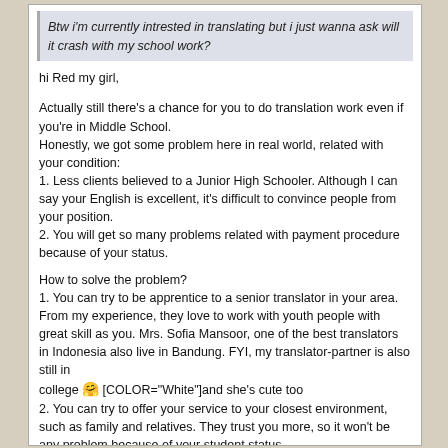Btw i'm currently intrested in translating but i just wanna ask will it crash with my school work?
hi Red my girl,

Actually still there's a chance for you to do translation work even if you're in Middle School.
Honestly, we got some problem here in real world, related with your condition:
1. Less clients believed to a Junior High Schooler. Although I can say your English is excellent, it's difficult to convince people from your position.
2. You will get so many problems related with payment procedure because of your status.

How to solve the problem?
1. You can try to be apprentice to a senior translator in your area. From my experience, they love to work with youth people with great skill as you. Mrs. Sofia Mansoor, one of the best translators in Indonesia also live in Bandung. FYI, my translator-partner is also still in college [emoji] [COLOR="White"]and she's cute too
2. You can try to offer your service to your closest environment, such as family and relatives. They trust you more, so it won't be any problem because of your student status

I hope that helps
Don't give up to reach your dream :thumbup